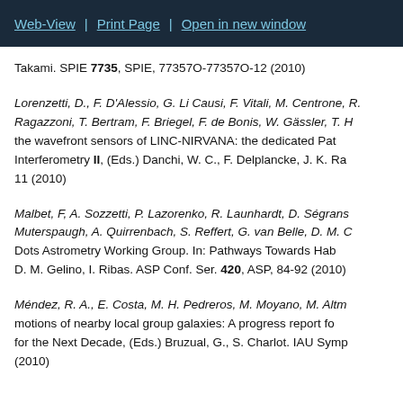Web-View | Print Page | Open in new window
Takami. SPIE 7735, SPIE, 77357O-77357O-12 (2010)
Lorenzetti, D., F. D'Alessio, G. Li Causi, F. Vitali, M. Centrone, R. Ragazzoni, T. Bertram, F. Briegel, F. de Bonis, W. Gässler, T. H. the wavefront sensors of LINC-NIRVANA: the dedicated Pat Interferometry II, (Eds.) Danchi, W. C., F. Delplancke, J. K. Ra 11 (2010)
Malbet, F, A. Sozzetti, P. Lazorenko, R. Launhardt, D. Ségrans Muterspaugh, A. Quirrenbach, S. Reffert, G. van Belle, D. M. C Dots Astrometry Working Group. In: Pathways Towards Hab D. M. Gelino, I. Ribas. ASP Conf. Ser. 420, ASP, 84-92 (2010)
Méndez, R. A., E. Costa, M. H. Pedreros, M. Moyano, M. Altm motions of nearby local group galaxies: A progress report fo for the Next Decade, (Eds.) Bruzual, G., S. Charlot. IAU Symp (2010)